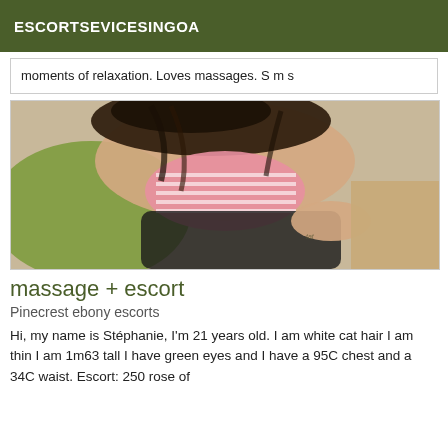ESCORTSEVICESINGOA
moments of relaxation. Loves massages. S m s
[Figure (photo): Photo of a person with dark curly hair wearing a pink striped top, lying down]
massage + escort
Pinecrest ebony escorts
Hi, my name is Stéphanie, I'm 21 years old. I am white cat hair I am thin I am 1m63 tall I have green eyes and I have a 95C chest and a 34C waist. Escort: 250 rose of